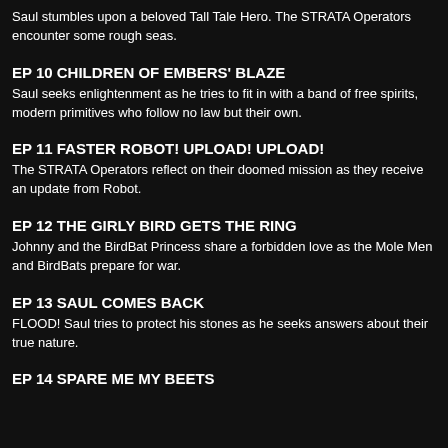Saul stumbles upon a beloved Tall Tale Hero. The STRATA Operators encounter some rough seas.
EP 10 CHILDREN OF EMBERS' BLAZE
Saul seeks enlightenment as he tries to fit in with a band of free spirits, modern primitives who follow no law but their own.
EP 11 FASTER ROBOT! UPLOAD! UPLOAD!
The STRATA Operators reflect on their doomed mission as they receive an update from Robot.
EP 12 THE GIRLY BIRD GETS THE RING
Johnny and the BirdBat Princess share a forbidden love as the Mole Men and BirdBats prepare for war.
EP 13 SAUL COMES BACK
FLOOD! Saul tries to protect his stones as he seeks answers about their true nature.
EP 14 SPARE ME MY BEETS